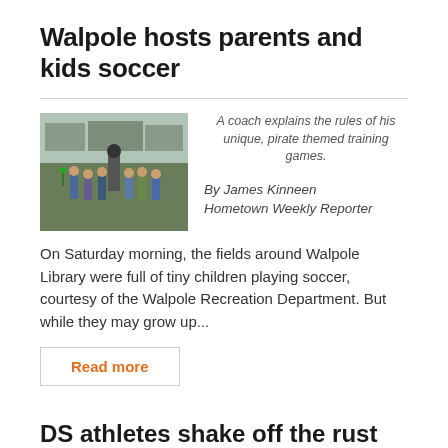Walpole hosts parents and kids soccer
[Figure (photo): A coach stands with a group of young children on a soccer field near Walpole Library, explaining game rules outdoors on a Saturday morning.]
A coach explains the rules of his unique, pirate themed training games.
By James Kinneen
Hometown Weekly Reporter
On Saturday morning, the fields around Walpole Library were full of tiny children playing soccer, courtesy of the Walpole Recreation Department. But while they may grow up...
Read more
DS athletes shake off the rust